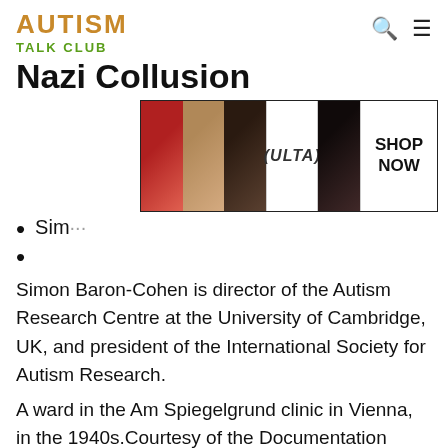AUTISM TALK CLUB
Nazi Collusion
[Figure (photo): ULTA beauty advertisement banner showing makeup images (lips, brush, eyebrows, eyes) and SHOP NOW text]
Sim[on Baron-Cohen]
Simon Baron-Cohen is director of the Autism Research Centre at the University of Cambridge, UK, and president of the International Society for Autism Research.
A ward in the Am Spiegelgrund clinic in Vienna, in the 1940s.Courtesy of the Documentation Centre of Austrian Resistance.
[Figure (photo): Partial advertisement banner (background image) with CLOSE button overlay]
[Figure (photo): ULTA beauty advertisement banner showing makeup images (lips, brush, eyebrows, eyes) and SHOP NOW text]